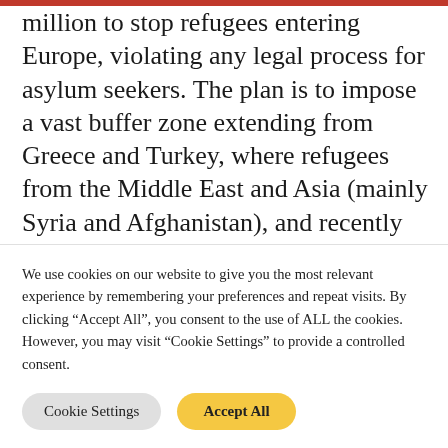million to stop refugees entering Europe, violating any legal process for asylum seekers. The plan is to impose a vast buffer zone extending from Greece and Turkey, where refugees from the Middle East and Asia (mainly Syria and Afghanistan), and recently from Africa, will find themselves trapped in huge detention centres and camps. This process of militarisation in guarding the borders closes the door of Fortress Europe on
We use cookies on our website to give you the most relevant experience by remembering your preferences and repeat visits. By clicking "Accept All", you consent to the use of ALL the cookies. However, you may visit "Cookie Settings" to provide a controlled consent.